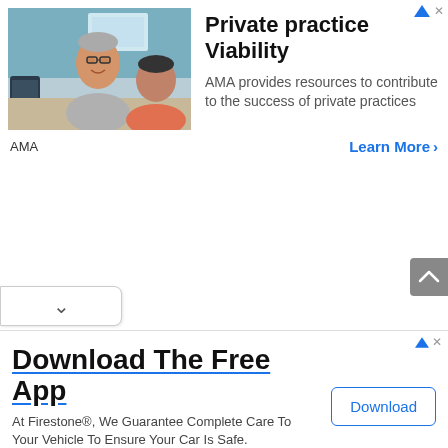[Figure (photo): Photo of two people in a medical office setting, an older man with glasses smiling and a woman facing away wearing a salmon-colored top]
Private practice Viability
AMA provides resources to contribute to the success of private practices
AMA
Learn More >
[Figure (screenshot): Scroll-up arrow button (grey, top-right area)]
[Figure (screenshot): Expand/collapse tab with chevron-down icon on left side]
Download The Free App
At Firestone®, We Guarantee Complete Care To Your Vehicle To Ensure Your Car Is Safe. Firestone
Download